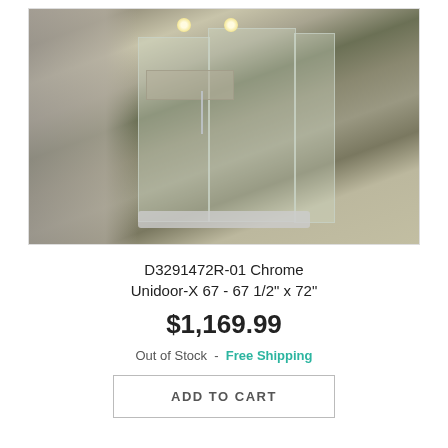[Figure (photo): Frameless glass shower door installation in a modern bathroom with chrome hardware, recessed wall niche, ceiling spotlights, bath mat on floor, and wood vanity visible on the right side.]
D3291472R-01 Chrome Unidoor-X 67 - 67 1/2" x 72"
$1,169.99
Out of Stock  -  Free Shipping
ADD TO CART